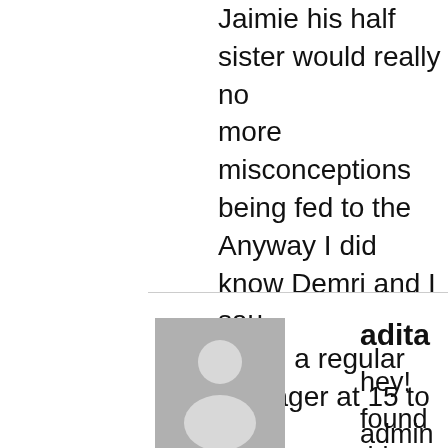Jaimie his half sister would really no more misconceptions being fed to the Anyway I did know Demri and I sau being a regular teenager at 15 to bein and returning a manipulating, drug d from the store steal from her friends, s without a heart, wretch of a human b to remember the good in people but h straight bs from a poser. Enough alre was dating someone else when she d
[Figure (illustration): Default gray user avatar placeholder image showing a silhouette of a person]
adita
hey! found this trying to find ph red tarten flop hat i had..for FN 8..grumge is back!
admin girl photo, kinda remem